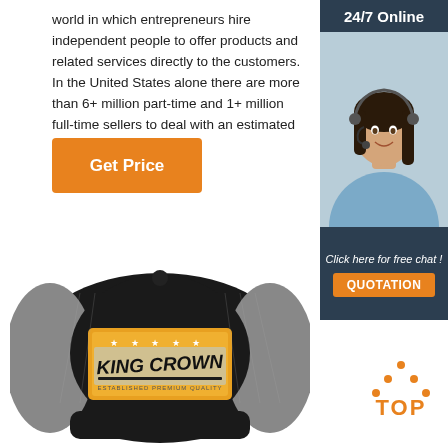world in which entrepreneurs hire independent people to offer products and related services directly to the customers. In the United States alone there are more than 6+ million part-time and 1+ million full-time sellers to deal with an estimated 36.9 million customers
[Figure (other): Orange 'Get Price' button]
[Figure (other): Sidebar advertisement with '24/7 Online' header, photo of a smiling woman wearing a headset, text 'Click here for free chat!' and an orange 'QUOTATION' button on dark navy background]
[Figure (photo): Black snapback trucker cap with a patch reading 'KING CROWN' on a yellow background with stars, white mesh back]
[Figure (other): Orange 'TOP' icon with dot triangle above the letters]